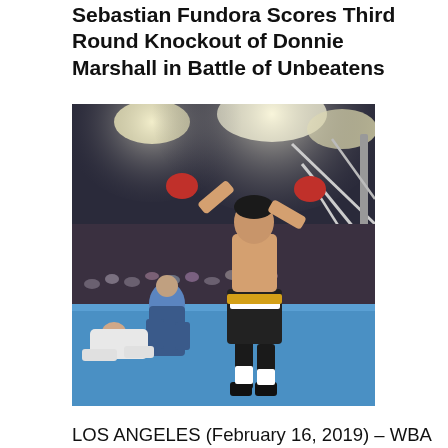Sebastian Fundora Scores Third Round Knockout of Donnie Marshall in Battle of Unbeatens
[Figure (photo): Boxing match photo: a boxer celebrating in the ring with red gloves raised, a referee and another boxer visible in the background, arena lighting overhead, blue ring canvas visible]
LOS ANGELES (February 16, 2019) – WBA Featherweight World Champion Leo Santa Cruz (36-1-1, 19 KOs) retained his title in front of his hometown crowd by winning a unanimous decision over Rafael Rivera (26-3-2, 17 KOs) in the main